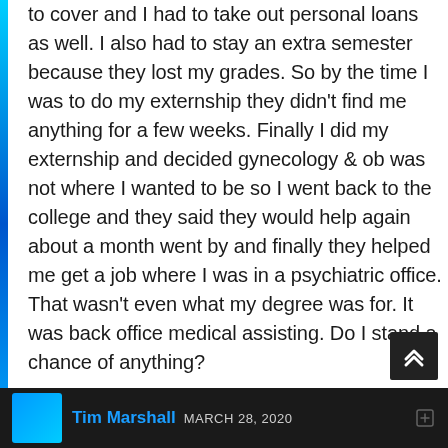to cover and I had to take out personal loans as well. I also had to stay an extra semester because they lost my grades. So by the time I was to do my externship they didn't find me anything for a few weeks. Finally I did my externship and decided gynecology & ob was not where I wanted to be so I went back to the college and they said they would help again about a month went by and finally they helped me get a job where I was in a psychiatric office. That wasn't even what my degree was for. It was back office medical assisting. Do I stand a chance of anything?
Reply
Tim Marshall MARCH 28, 2020